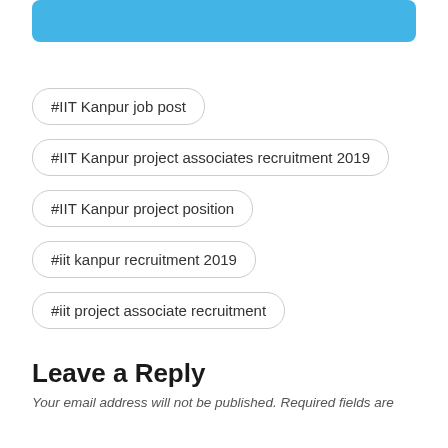[Figure (other): Blue banner/button at top of page]
#IIT Kanpur job post
#IIT Kanpur project associates recruitment 2019
#IIT Kanpur project position
#iit kanpur recruitment 2019
#iit project associate recruitment
Leave a Reply
Your email address will not be published. Required fields are